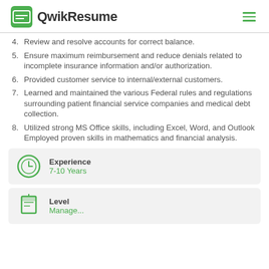QwikResume
4. Review and resolve accounts for correct balance.
5. Ensure maximum reimbursement and reduce denials related to incomplete insurance information and/or authorization.
6. Provided customer service to internal/external customers.
7. Learned and maintained the various Federal rules and regulations surrounding patient financial service companies and medical debt collection.
8. Utilized strong MS Office skills, including Excel, Word, and Outlook Employed proven skills in mathematics and financial analysis.
Experience
7-10 Years
Level